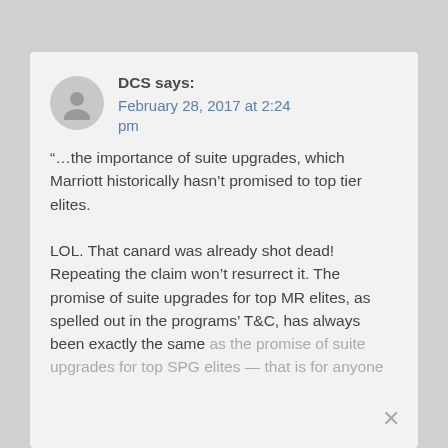DCS says: February 28, 2017 at 2:24 pm
“…the importance of suite upgrades, which Marriott historically hasn’t promised to top tier elites.

LOL. That canard was already shot dead! Repeating the claim won’t resurrect it. The promise of suite upgrades for top MR elites, as spelled out in the programs’ T&C, has always been exactly the same as the promise of suite upgrades for top SPG elites — that is for anyone